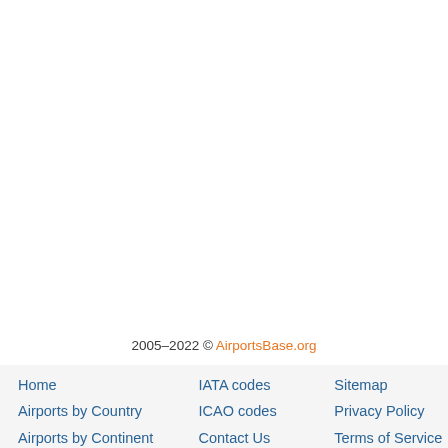2005–2022 © AirportsBase.org
Home
Airports by Country
Airports by Continent
IATA codes
ICAO codes
Contact Us
Sitemap
Privacy Policy
Terms of Service